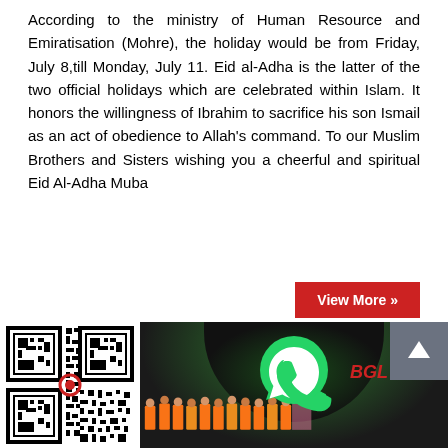According to the ministry of Human Resource and Emiratisation (Mohre), the holiday would be from Friday, July 8,till Monday, July 11. Eid al-Adha is the latter of the two official holidays which are celebrated within Islam. It honors the willingness of Ibrahim to sacrifice his son Ismail as an act of obedience to Allah's command. To our Muslim Brothers and Sisters wishing you a cheerful and spiritual Eid Al-Adha Muba
View More »
[Figure (other): QR code square]
[Figure (photo): Group photo of people in orange shirts with WhatsApp logo overlay, BGL banner in background, green lighting effect]
[Figure (other): Up arrow button (scroll to top)]